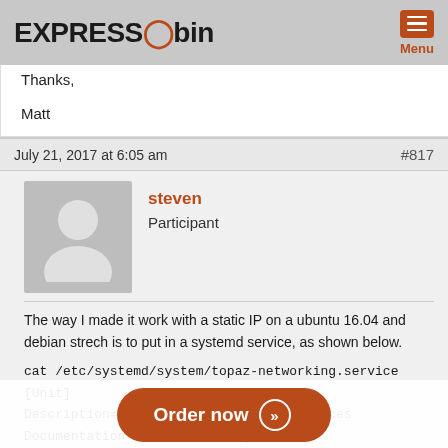ESPRESSObin — Menu
Thanks,

Matt
July 21, 2017 at 6:05 am   #817
steven
Participant
The way I made it work with a static IP on a ubuntu 16.04 and debian strech is to put in a systemd service, as shown below.
cat /etc/systemd/system/topaz-networking.service
[Unit]
Description=Raise Topaz network interfaces
Documentation=man:interfaces(5)
DefaultDependencies=no
Wants=network.target